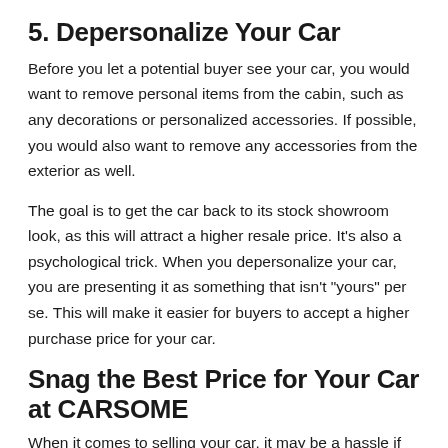5. Depersonalize Your Car
Before you let a potential buyer see your car, you would want to remove personal items from the cabin, such as any decorations or personalized accessories. If possible, you would also want to remove any accessories from the exterior as well.
The goal is to get the car back to its stock showroom look, as this will attract a higher resale price. It’s also a psychological trick. When you depersonalize your car, you are presenting it as something that isn’t “yours” per se. This will make it easier for buyers to accept a higher purchase price for your car.
Snag the Best Price for Your Car at CARSOME
When it comes to selling your car, it may be a hassle if you sell it the traditional way. This is why many turn to CARSOME, where you can sell your car within 24 hours*.